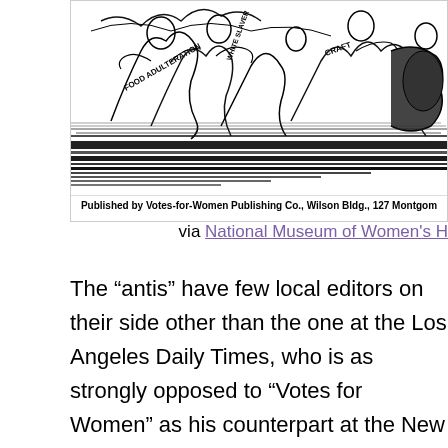[Figure (illustration): A black and white political cartoon/illustration showing chaotic figures with labels including 'FOOD ADULTERATION', 'WHITE SLAVER', 'CRAFT'. Below the illustration is text: 'Published by Votes-for-Women Publishing Co., Wilson Bldg., 127 Montgom']
via National Museum of Women's H
The “antis” have few local editors on their side other than the one at the Los Angeles Daily Times, who is as strongly opposed to “Votes for Women” as his counterpart at the New York Times. But though they rarely get their views expressed free of charge editorially, anti-suffragists seem to have plenty of liquor industry money to buy space for their propaganda in newspapers. Here’s a sample